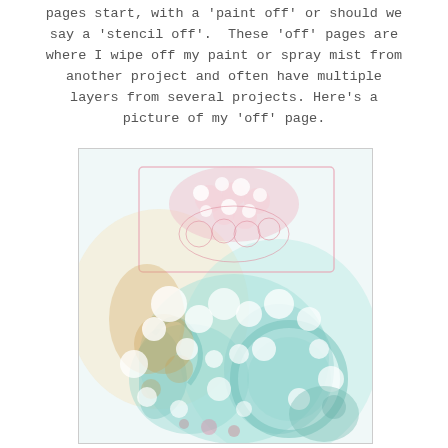pages start, with a 'paint off' or should we say a 'stencil off'. These 'off' pages are where I wipe off my paint or spray mist from another project and often have multiple layers from several projects. Here's a picture of my 'off' page.
[Figure (illustration): An abstract mixed-media art page showing multiple layers of paint and stencil impressions in pastel colors — pink floral/lace stencil patterns in the upper area, teal/mint paint blobs and swirls in the lower and middle area, golden/orange paint splatters and washes on the left side, and white circular bubble-like shapes throughout. The overall effect is a soft, pastel-toned abstract collage of overlapping layers from various art projects.]